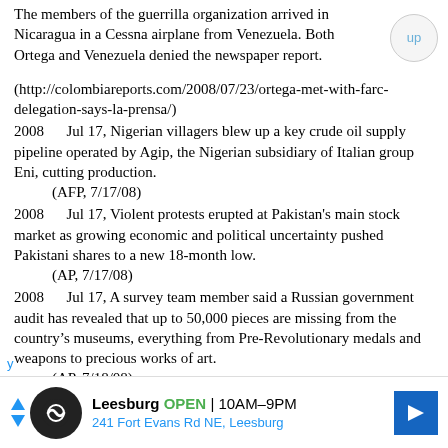The members of the guerrilla organization arrived in Nicaragua in a Cessna airplane from Venezuela. Both Ortega and Venezuela denied the newspaper report.
(http://colombiareports.com/2008/07/23/ortega-met-with-farc-delegation-says-la-prensa/)
2008	Jul 17, Nigerian villagers blew up a key crude oil supply pipeline operated by Agip, the Nigerian subsidiary of Italian group Eni, cutting production.
	(AFP, 7/17/08)
2008	Jul 17, Violent protests erupted at Pakistan's main stock market as growing economic and political uncertainty pushed Pakistani shares to a new 18-month low.
	(AP, 7/17/08)
2008	Jul 17, A survey team member said a Russian government audit has revealed that up to 50,000 pieces are missing from the country’s museums, everything from Pre-Revolutionary medals and weapons to precious works of art.
	(AP, 7/18/08)
[Figure (other): Advertisement banner for Leesburg store: OPEN 10AM-9PM, 241 Fort Evans Rd NE, Leesburg]